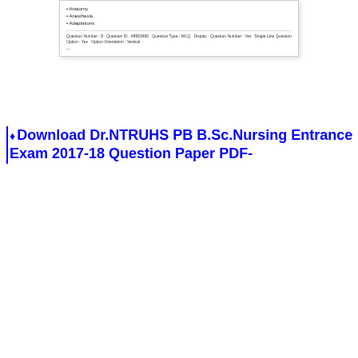[Figure (screenshot): Screenshot of a question paper interface showing list items (Anatomy, Anesthesia, Adaptation) and metadata row with Question Number, Question ID, Question Type MCQ, Display, Question Number, Single Line Question Option, Option Orientation: Vertical]
♦ Download Dr.NTRUHS PB B.Sc.Nursing Entrance Exam 2017-18 Question Paper PDF-